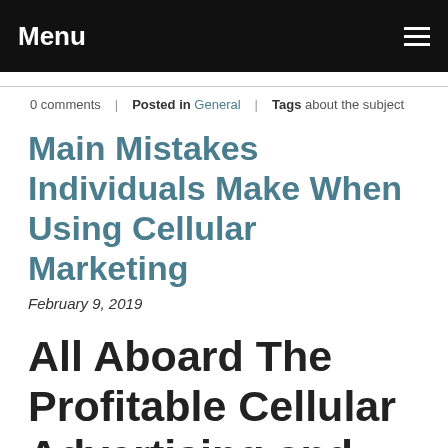Menu
0 comments   Posted in General   Tags about the subject
Main Mistakes Individuals Make When Using Cellular Marketing
February 9, 2019
All Aboard The Profitable Cellular Advertising and